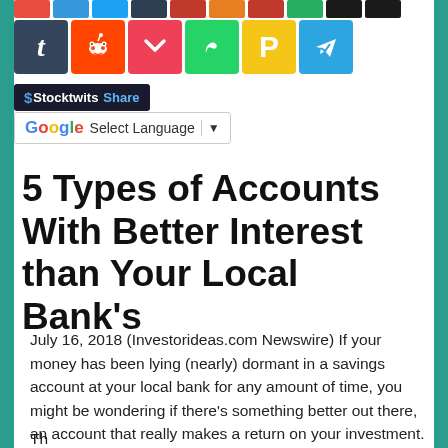[Figure (screenshot): Social media sharing icons row 1 (partially visible at top): colored squares for various social platforms]
[Figure (screenshot): Social media sharing icons row 2: Tumblr (blue), Reddit (orange), Pocket (red), WhatsApp (green), Parking/P (yellow), Telegram (blue)]
[Figure (screenshot): Stocktwits Share button (dark background with blue text)]
[Figure (screenshot): Google Translate language selector widget showing 'Select Language' with dropdown arrow]
5 Types of Accounts With Better Interest than Your Local Bank's
July 16, 2018 (Investorideas.com Newswire) If your money has been lying (nearly) dormant in a savings account at your local bank for any amount of time, you might be wondering if there's something better out there, an account that really makes a return on your investment.
Th...